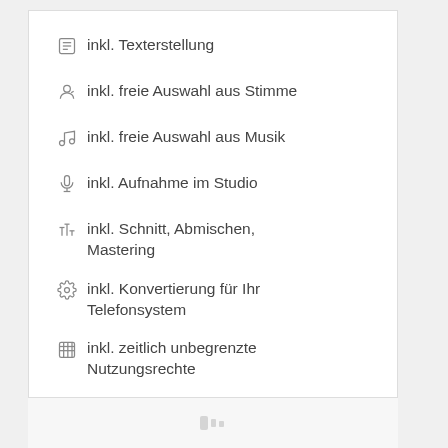inkl. Texterstellung
inkl. freie Auswahl aus Stimme
inkl. freie Auswahl aus Musik
inkl. Aufnahme im Studio
inkl. Schnitt, Abmischen, Mastering
inkl. Konvertierung für Ihr Telefonsystem
inkl. zeitlich unbegrenzte Nutzungsrechte
GEMA-Freiheit / keine Folgekosten